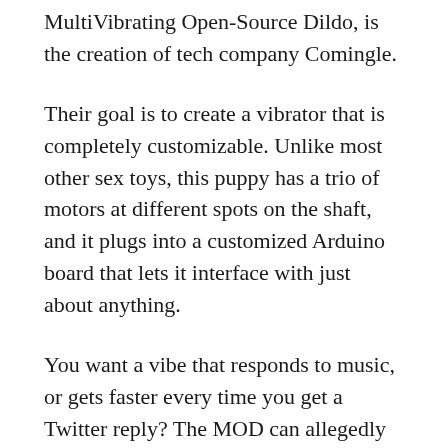MultiVibrating Open-Source Dildo, is the creation of tech company Comingle.
Their goal is to create a vibrator that is completely customizable. Unlike most other sex toys, this puppy has a trio of motors at different spots on the shaft, and it plugs into a customized Arduino board that lets it interface with just about anything.
You want a vibe that responds to music, or gets faster every time you get a Twitter reply? The MOD can allegedly do that. It even works with a brain-sensing headband that lets you get yourself off with thought alone. Allegedly.